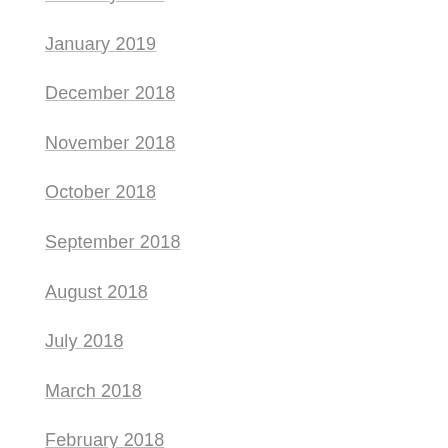February 2019
January 2019
December 2018
November 2018
October 2018
September 2018
August 2018
July 2018
March 2018
February 2018
January 2018
November 2017
October 2017
September 2017